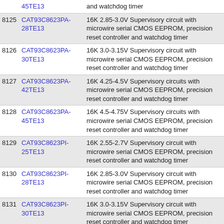|  | Part | Description |
| --- | --- | --- |
|  | 45TE13 | and watchdog timer |
| 8125 | CAT93C8623PA-28TE13 | 16K 2.85-3.0V Supervisory circuit with microwire serial CMOS EEPROM, precision reset controller and watchdog timer |
| 8126 | CAT93C8623PA-30TE13 | 16K 3.0-3.15V Supervisory circuit with microwire serial CMOS EEPROM, precision reset controller and watchdog timer |
| 8127 | CAT93C8623PA-42TE13 | 16K 4.25-4.5V Supervisory circuits with microwire serial CMOS EEPROM, precision reset controller and watchdog timer |
| 8128 | CAT93C8623PA-45TE13 | 16K 4.5-4.75V Supervisory circuits with microwire serial CMOS EEPROM, precision reset controller and watchdog timer |
| 8129 | CAT93C8623PI-25TE13 | 16K 2.55-2.7V Supervisory circuit with microwire serial CMOS EEPROM, precision reset controller and watchdog timer |
| 8130 | CAT93C8623PI-28TE13 | 16K 2.85-3.0V Supervisory circuit with microwire serial CMOS EEPROM, precision reset controller and watchdog timer |
| 8131 | CAT93C8623PI-30TE13 | 16K 3.0-3.15V Supervisory circuit with microwire serial CMOS EEPROM, precision reset controller and watchdog timer |
| 8132 | CAT93C8623PI-42TE13 | 16K 4.25-4.5V Supervisory circuits with microwire serial CMOS EEPROM, precision reset controller and watchdog timer |
| 8133 | CAT93C8623PI-45TE13 | 16K 4.5-4.75V Supervisory circuits with microwire serial CMOS EEPROM, precision reset controller and watchdog timer |